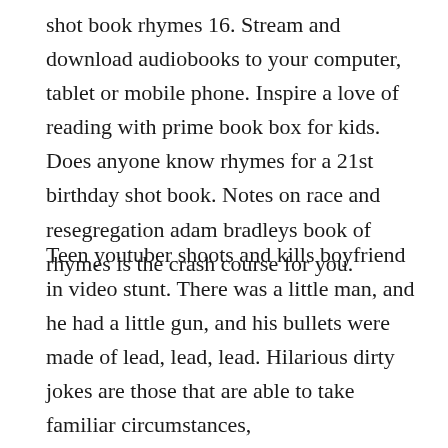shot book rhymes 16. Stream and download audiobooks to your computer, tablet or mobile phone. Inspire a love of reading with prime book box for kids. Does anyone know rhymes for a 21st birthday shot book. Notes on race and resegregation adam bradleys book of rhymes is the crash course for you.
Teen youtuber shoots and kills boyfriend in video stunt. There was a little man, and he had a little gun, and his bullets were made of lead, lead, lead. Hilarious dirty jokes are those that are able to take familiar circumstances,